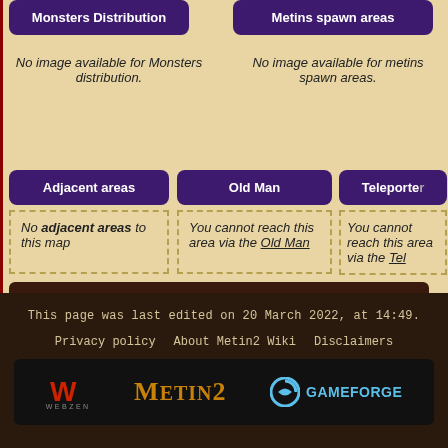Monsters Distribution
Metins spawn areas
No image available for Monsters distribution.
No image available for metins spawn areas.
Adjacent areas
Old Man
Teleporter
No adjacent areas to this map
You cannot reach this area via the Old Man
You cannot reach this area via the Teleporter
Category:  Areas/neutral
This page was last edited on 20 March 2022, at 14:49.
Privacy policy   About Metin2 Wiki   Disclaimers
[Figure (logo): Webzen, Metin2, and Gameforge logos in a dark banner]